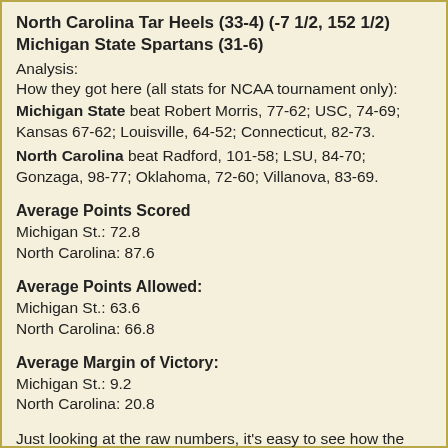North Carolina Tar Heels (33-4) (-7 1/2, 152 1/2) Michigan State Spartans (31-6)
Analysis:
How they got here (all stats for NCAA tournament only):
Michigan State beat Robert Morris, 77-62; USC, 74-69; Kansas 67-62; Louisville, 64-52; Connecticut, 82-73.
North Carolina beat Radford, 101-58; LSU, 84-70; Gonzaga, 98-77; Oklahoma, 72-60; Villanova, 83-69.
Average Points Scored
Michigan St.: 72.8
North Carolina: 87.6
Average Points Allowed:
Michigan St.: 63.6
North Carolina: 66.8
Average Margin of Victory:
Michigan St.: 9.2
North Carolina: 20.8
Just looking at the raw numbers, it's easy to see how the